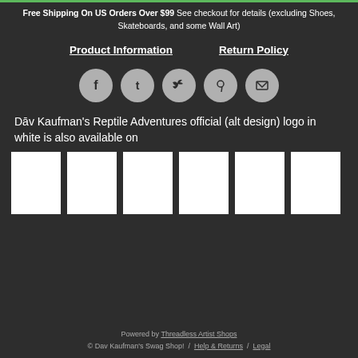Free Shipping On US Orders Over $99 See checkout for details (excluding Shoes, Skateboards, and some Wall Art)
Product Information
Return Policy
[Figure (infographic): Social media share icons: Facebook, Tumblr, Twitter, Pinterest, Email — circular grey buttons]
Dāv Kaufman's Reptile Adventures official (alt design) logo in white is also available on
[Figure (photo): Six white product thumbnail images in a horizontal row]
Powered by Threadless Artist Shops
© Dav Kaufman's Swag Shop! / Help & Returns / Legal